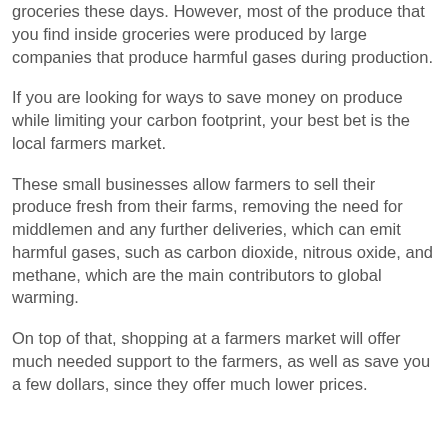groceries these days. However, most of the produce that you find inside groceries were produced by large companies that produce harmful gases during production.
If you are looking for ways to save money on produce while limiting your carbon footprint, your best bet is the local farmers market.
These small businesses allow farmers to sell their produce fresh from their farms, removing the need for middlemen and any further deliveries, which can emit harmful gases, such as carbon dioxide, nitrous oxide, and methane, which are the main contributors to global warming.
On top of that, shopping at a farmers market will offer much needed support to the farmers, as well as save you a few dollars, since they offer much lower prices.